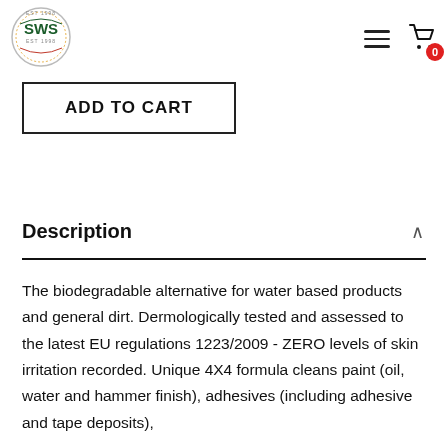[Figure (logo): SWS circular logo with green text and decorative border]
ADD TO CART
Description
The biodegradable alternative for water based products and general dirt. Dermologically tested and assessed to the latest EU regulations 1223/2009 - ZERO levels of skin irritation recorded. Unique 4X4 formula cleans paint (oil, water and hammer finish), adhesives (including adhesive and tape deposits),